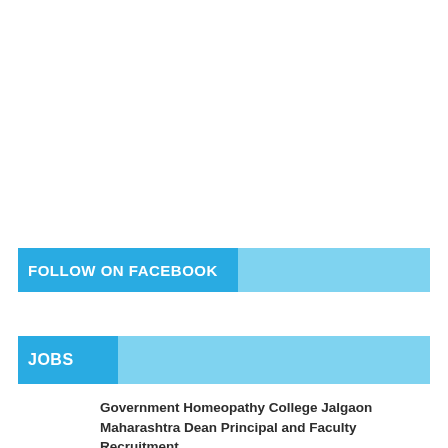FOLLOW ON FACEBOOK
JOBS
Government Homeopathy College Jalgaon Maharashtra Dean Principal and Faculty Recruitment